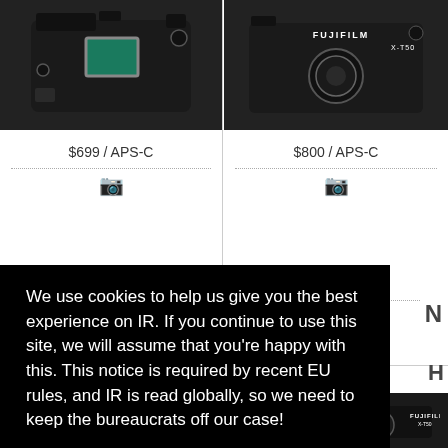[Figure (screenshot): Product comparison grid showing two mirrorless cameras. Left cell: camera body with green sensor visible, priced at $699 / APS-C. Right cell: Fujifilm X-T50 camera body, priced at $800 / APS-C. Bottom row shows additional camera product thumbnails.]
$699 / APS-C
$800 / APS-C
We use cookies to help us give you the best experience on IR. If you continue to use this site, we will assume that you're happy with this. This notice is required by recent EU rules, and IR is read globally, so we need to keep the bureaucrats off our case!
Learn more
Got it!